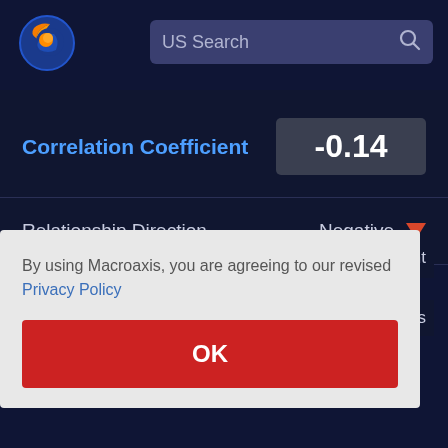[Figure (logo): Macroaxis globe logo — blue circle with orange crescent/globe design]
US Search
Correlation Coefficient
-0.14
Relationship Direction
Negative ▼
ficant
os
By using Macroaxis, you are agreeing to our revised Privacy Policy
OK